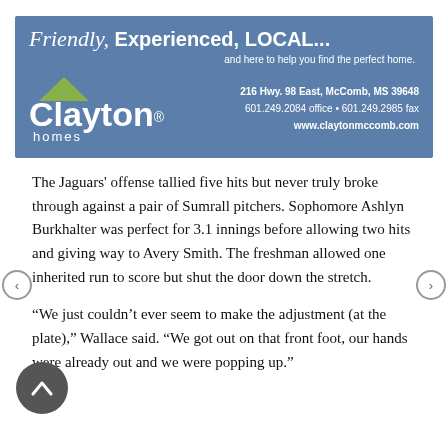[Figure (infographic): Clayton Homes advertisement banner with blue background. Header reads 'Friendly, Experienced, LOCAL...' and 'and here to help you find the perfect home.' Features Clayton Homes logo with green roof icon, address: 216 Hwy. 98 East, McComb, MS 39648, phone: 601.249.2084 office • 601.249.2985 fax, website: www.claytonmccomb.com]
The Jaguars' offense tallied five hits but never truly broke through against a pair of Sumrall pitchers. Sophomore Ashlyn Burkhalter was perfect for 3.1 innings before allowing two hits and giving way to Avery Smith. The freshman allowed one inherited run to score but shut the door down the stretch.
“We just couldn’t ever seem to make the adjustment (at the plate),” Wallace said. “We got out on that front foot, our hands were already out and we were popping up.”